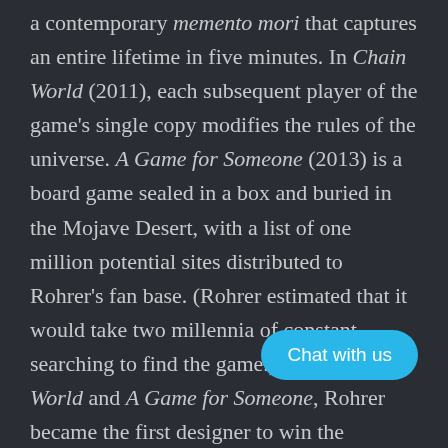a contemporary memento mori that captures an entire lifetime in five minutes. In Chain World (2011), each subsequent player of the game's single copy modifies the rules of the universe. A Game for Someone (2013) is a board game sealed in a box and buried in the Mojave Desert, with a list of one million potential sites distributed to Rohrer's fan base. (Rohrer estimated that it would take two millennia of constant searching to find the game.) With Chain World and A Game for Someone, Rohrer became the first designer to win the prestigious Game Challenge Design award twice.
This book, and the exhibition it accompanies, offers a comprehensive account of the artist's oeuvre. The book documents all seventeen of Rohrer's [obscured] as well as sketches, ephemera, and rela[ted] [wit]h color images throughout. It includes entries on
[Figure (other): Chat with us button — a cyan/blue rounded pill-shaped UI button with white text reading 'Chat with us']